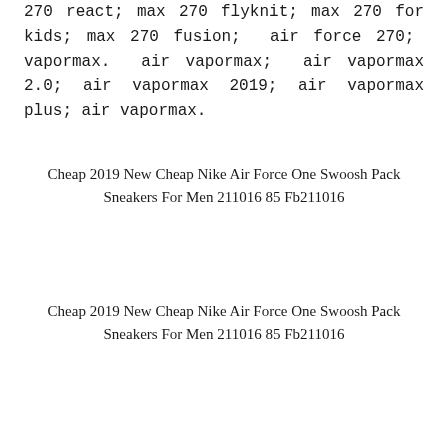270 react; max 270 flyknit; max 270 for kids; max 270 fusion; air force 270; vapormax. air vapormax; air vapormax 2.0; air vapormax 2019; air vapormax plus; air vapormax.
Cheap 2019 New Cheap Nike Air Force One Swoosh Pack Sneakers For Men 211016 85 Fb211016
Cheap 2019 New Cheap Nike Air Force One Swoosh Pack Sneakers For Men 211016 85 Fb211016